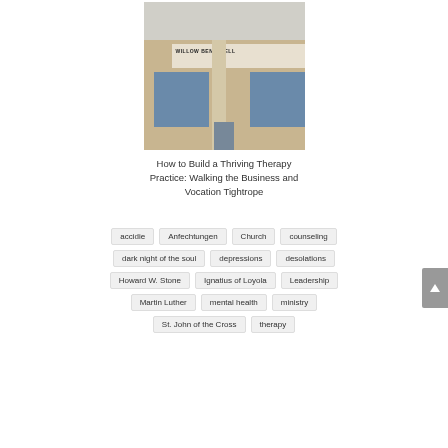[Figure (photo): Exterior photo of a building with 'WILLOW BEND WELL...' sign on the facade]
How to Build a Thriving Therapy Practice: Walking the Business and Vocation Tightrope
accidie
Anfechtungen
Church
counseling
dark night of the soul
depressions
desolations
Howard W. Stone
Ignatius of Loyola
Leadership
Martin Luther
mental health
ministry
St. John of the Cross
therapy